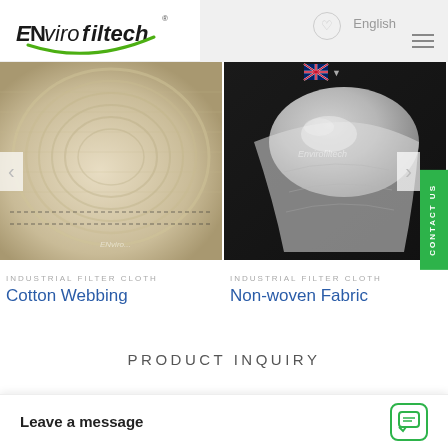[Figure (logo): Envirofiltech company logo with green swoosh/arc and company name in stylized italic font]
English
[Figure (photo): Close-up photo of a roll of cream/beige cotton webbing fabric showing woven texture and stitching lines]
[Figure (photo): Photo of translucent white non-woven fabric roll on dark background with Envirofiltech watermark]
INDUSTRIAL FILTER CLOTH
Cotton Webbing
INDUSTRIAL FILTER CLOTH
Non-woven Fabric
PRODUCT INQUIRY
Leave a message